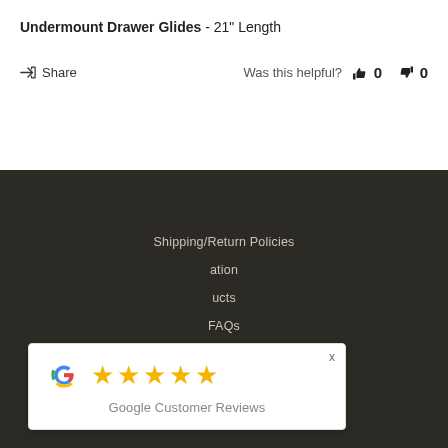Undermount Drawer Glides - 21" Length
Share  Was this helpful?  👍 0  👎 0
[Figure (screenshot): Dark footer section of a website with links: Shipping/Return Policies, (Inform)ation, (Prod)ucts, FAQs]
[Figure (other): Google Customer Reviews popup with Google G logo, five gold stars, and text 'Google Customer Reviews']